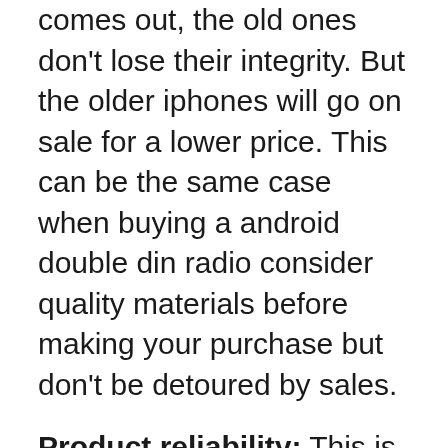comes out, the old ones don't lose their integrity. But the older iphones will go on sale for a lower price. This can be the same case when buying a android double din radio consider quality materials before making your purchase but don't be detoured by sales.
Product reliability: This is the long-term durability of the product. Some android double din radio will last longer than others depending on how it was made. A sloppy production process will reduce product reliability.
Our intelligent Search method for best android